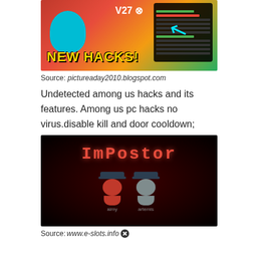[Figure (screenshot): Screenshot of Among Us hack thumbnail showing 'NEW HACKS!' text in yellow, a cyan Among Us character, and a hack menu overlay with a cyan arrow pointing at it. Shows 'v27' version text.]
Source: pictureaday2010.blogspot.com
Undetected among us hacks and its features. Among us pc hacks no virus.disable kill and door cooldown;
[Figure (screenshot): Screenshot showing 'Impostor' text in red monospace font on dark background with two Among Us characters (red in cowboy hat and gray) labeled 'aimy' and 'artemis'.]
Source: www.e-slots.info